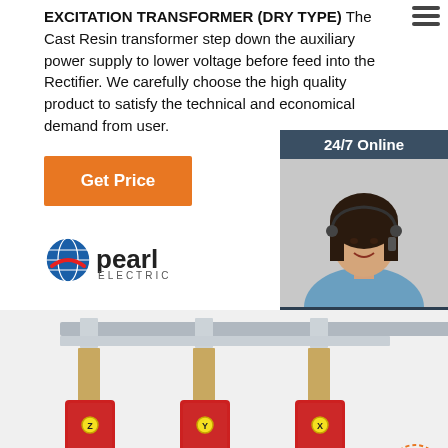EXCITATION TRANSFORMER (DRY TYPE) The Cast Resin transformer step down the auxiliary power supply to lower voltage before feed into the Rectifier. We carefully choose the high quality product to satisfy the technical and economical demand from user.
Get Price
24/7 Online
[Figure (photo): Customer support agent with headset smiling]
Click here for free chat !
QUOTATION
[Figure (logo): Pearl Electric logo with globe icon]
[Figure (photo): Three-phase dry type excitation transformer with red coil windings and Pearl Electric branding, en.pearlelectric.com watermark]
en.pearlelectric.com